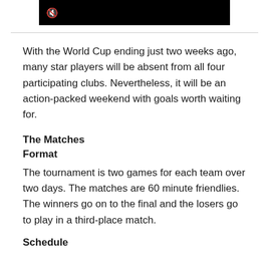[Figure (screenshot): Black video thumbnail with mute icon in top-left corner]
With the World Cup ending just two weeks ago, many star players will be absent from all four participating clubs. Nevertheless, it will be an action-packed weekend with goals worth waiting for.
The Matches
Format
The tournament is two games for each team over two days. The matches are 60 minute friendlies. The winners go on to the final and the losers go to play in a third-place match.
Schedule